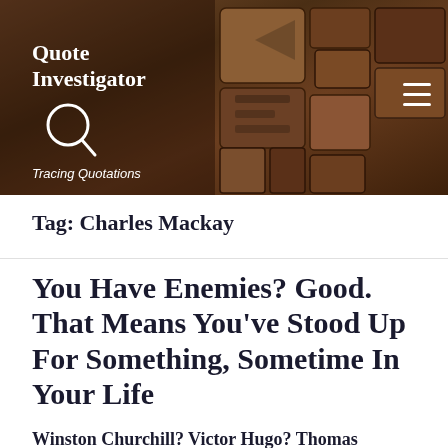[Figure (photo): Website header banner with letterpress/typeset wooden blocks in dark brown tones, showing the Quote Investigator website header with logo, magnifying glass icon, and tagline 'Tracing Quotations'. A hamburger menu icon is visible in the top right.]
Tag: Charles Mackay
You Have Enemies? Good. That Means You've Stood Up For Something, Sometime In Your Life
Winston Churchill? Victor Hugo? Thomas